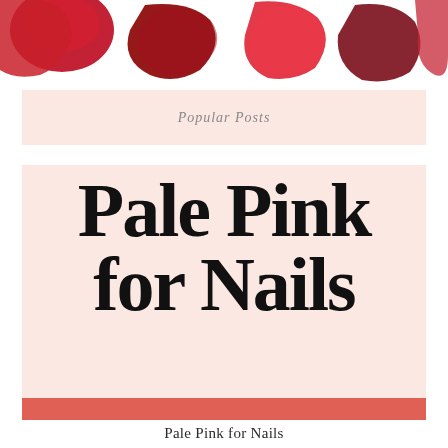[Figure (illustration): Row of red and pink nail polish swatches/blobs seen from above, partially cropped at top of page]
Popular Posts
Pale Pink for Nails
[Figure (illustration): Bottom edge of the Pale Pink for Nails card thumbnail showing a coral/red band]
Pale Pink for Nails